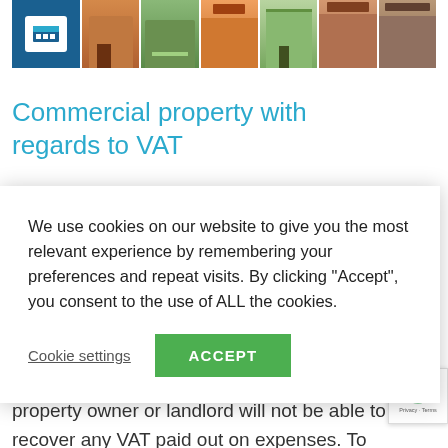[Figure (illustration): Banner image showing commercial property storefronts and building icons in a strip across the top]
Commercial property with regards to VAT
We use cookies on our website to give you the most relevant experience by remembering your preferences and repeat visits. By clicking “Accept”, you consent to the use of ALL the cookies.
Cookie settings   ACCEPT
...could good, it also means that commercial property owner or landlord will not be able to recover any VAT paid out on expenses. To overcome this, many commercial property owners or landlords choose ‘option to tax’ by